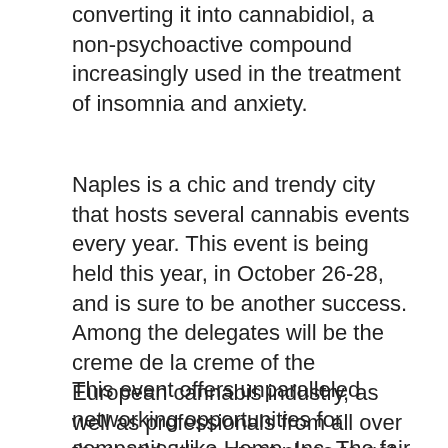converting it into cannabidiol, a non-psychoactive compound increasingly used in the treatment of insomnia and anxiety.
Naples is a chic and trendy city that hosts several cannabis events every year. This event is being held this year, in October 26-28, and is sure to be another success. Among the delegates will be the creme de la creme of the European cannabis industry, as well as professionals from all over the world. It's a great place to get acquainted with the latest technology and trends.
This event offers unparalleled networking opportunities for companies like Hemp, Inc. The fair features a medical marijuana conference with world-renowned speakers like Dr Raphael Mechoulam, Lumir Hanus, and David Meiri. During the conference, attendees can learn about cutting-edge cannabis research, cutting-edge technologies, and investment opportunities. For more in...